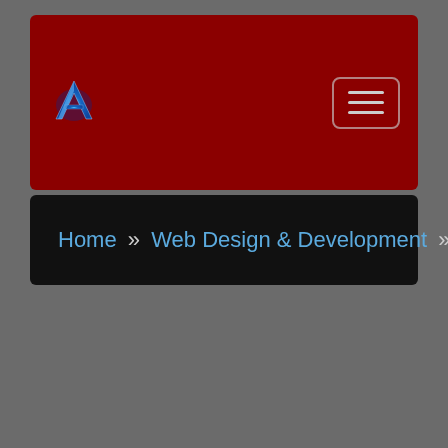[Figure (logo): Stylized letter A logo with blue flame effect on dark red navigation header background]
Home » Web Design & Development » Page 2